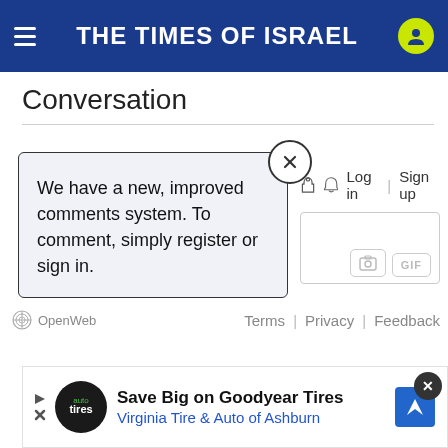THE TIMES OF ISRAEL
Conversation
We have a new, improved comments system. To comment, simply register or sign in.
Log in | Sign up
[Figure (screenshot): OpenWeb comment widget with camera and GIF buttons]
OpenWeb   Terms | Privacy | Feedback
[Figure (infographic): Advertisement: Save Big on Goodyear Tires - Virginia Tire & Auto of Ashburn]